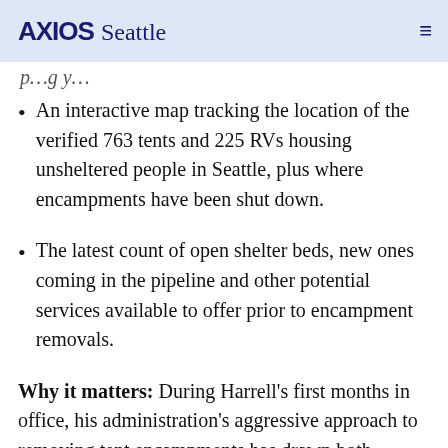AXIOS Seattle
p…g y…
An interactive map tracking the location of the verified 763 tents and 225 RVs housing unsheltered people in Seattle, plus where encampments have been shut down.
The latest count of open shelter beds, new ones coming in the pipeline and other potential services available to offer prior to encampment removals.
Why it matters: During Harrell's first months in office, his administration's aggressive approach to removing tent encampments has drawn both supporters and critics, some of whom have